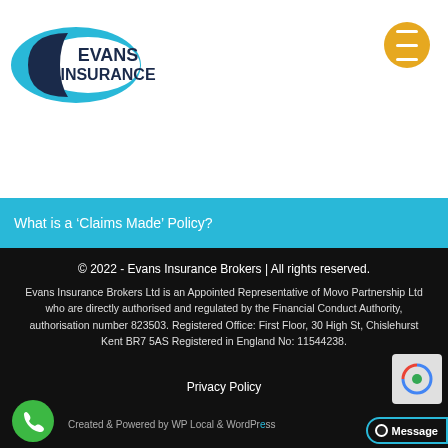[Figure (logo): Evans Insurance Brokers logo — blue swoosh/ellipse shape on the left, text 'EVANS INSURANCE' in bold dark font to the right]
[Figure (other): Orange circular hamburger menu button with three white horizontal lines]
What is a 'Claims Made' Policy?
© 2022 - Evans Insurance Brokers | All rights reserved.
Evans Insurance Brokers Ltd is an Appointed Representative of Movo Partnership Ltd who are directly authorised and regulated by the Financial Conduct Authority, authorisation number 823503. Registered Office: First Floor, 30 High St, Chislehurst Kent BR7 5AS Registered in England No: 11544238.
Privacy Policy
Created & Powered by WP Local & WordPress